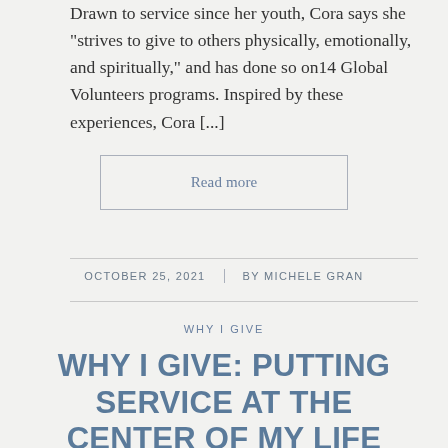Drawn to service since her youth, Cora says she “strives to give to others physically, emotionally, and spiritually,” and has done so on14 Global Volunteers programs. Inspired by these experiences, Cora [...]
Read more
OCTOBER 25, 2021 | BY MICHELE GRAN
WHY I GIVE
WHY I GIVE: PUTTING SERVICE AT THE CENTER OF MY LIFE